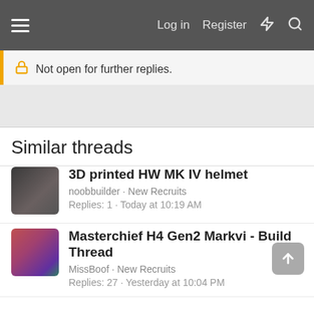Log in  Register
Not open for further replies.
Similar threads
3D printed HW MK IV helmet
noobbuilder · New Recruits
Replies: 1 · Today at 10:19 AM
Masterchief H4 Gen2 Markvi - Build Thread
MissBoof · New Recruits
Replies: 27 · Yesterday at 10:04 PM
G3IST's ODST build
G3IST · New Recruits
Replies: 32 · Yesterday at 4:37 AM
3D printed mkVI build (Citruspers)